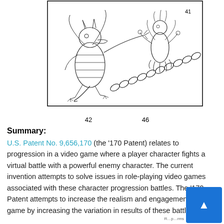[Figure (illustration): Patent drawing showing a dragon-like enemy character (labeled 42) fighting a fairy/flower character (labeled 41) connected by a chain (labeled 46). Black and white line art from US Patent No. 9,656,170.]
42    46
Summary:
U.S. Patent No. 9,656,170 (the '170 Patent) relates to progression in a video game where a player character fights a virtual battle with a powerful enemy character. The current invention attempts to solve issues in role-playing video games associated with these character progression battles. The '170 Patent attempts to increase the realism and engagement with the game by increasing the variation in results of these battles.